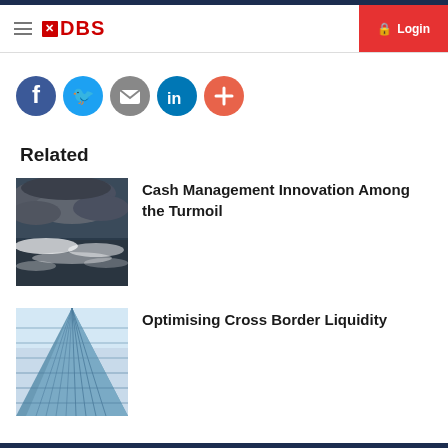DBS   Login
[Figure (illustration): Social media sharing icons: Facebook (dark blue circle), Twitter (light blue circle), Email (grey circle with envelope), LinkedIn (teal circle), More/Plus (orange-red circle with plus sign)]
Related
[Figure (photo): Stormy ocean waves with dramatic dark cloudy sky]
Cash Management Innovation Among the Turmoil
[Figure (photo): Looking up at a modern glass skyscraper with blue tones]
Optimising Cross Border Liquidity